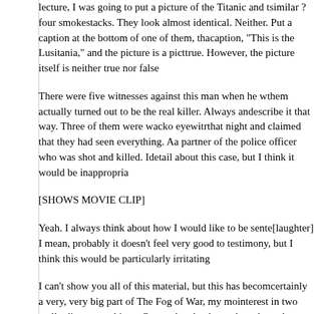lecture, I was going to put a picture of the Titanic and the similar ? four smokestacks. They look almost identical. Neither. Put a caption at the bottom of one of them, that caption, "This is the Lusitania," and the picture is a picture true. However, the picture itself is neither true nor false
There were five witnesses against this man when he w them actually turned out to be the real killer. Always an describe it that way. Three of them were wacko eyewit that night and claimed that they had seen everything. A a partner of the police officer who was shot and killed. detail about this case, but I think it would be inappropria
[SHOWS MOVIE CLIP]
Yeah. I always think about how I would like to be sente [laughter] I mean, probably it doesn't feel very good to testimony, but I think this would be particularly irritating
I can't show you all of this material, but this has becom certainly a very, very big part of The Fog of War, my mo interest in two really discrepant things. On one hand, a themselves through language. A friend of mine has sai doesn't talk a lot, because how else could you know wh